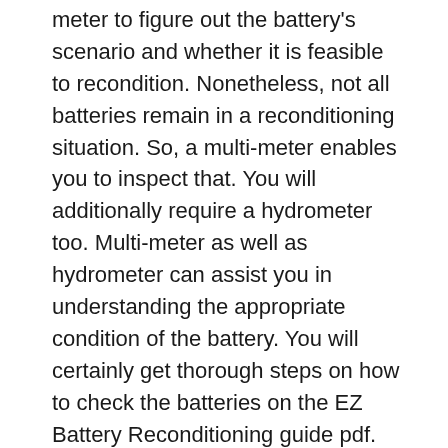meter to figure out the battery's scenario and whether it is feasible to recondition. Nonetheless, not all batteries remain in a reconditioning situation. So, a multi-meter enables you to inspect that. You will additionally require a hydrometer too. Multi-meter as well as hydrometer can assist you in understanding the appropriate condition of the battery. You will certainly get thorough steps on how to check the batteries on the EZ Battery Reconditioning guide pdf.
Tip 4 If the battery passed the previous action, you could proceed with the reconditioning utilizing two approaches explained in guide. The initial approach is